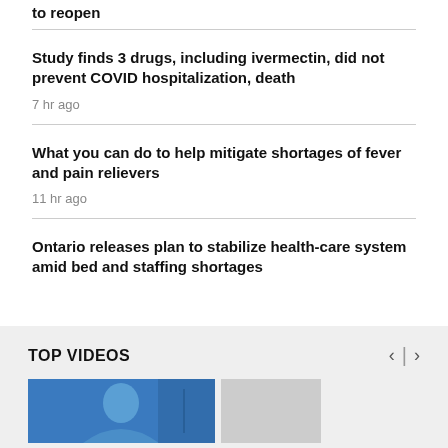to reopen
Study finds 3 drugs, including ivermectin, did not prevent COVID hospitalization, death
7 hr ago
What you can do to help mitigate shortages of fever and pain relievers
11 hr ago
Ontario releases plan to stabilize health-care system amid bed and staffing shortages
TOP VIDEOS
[Figure (photo): Video thumbnail showing a person in front of a blue background, partially visible at the bottom of the page]